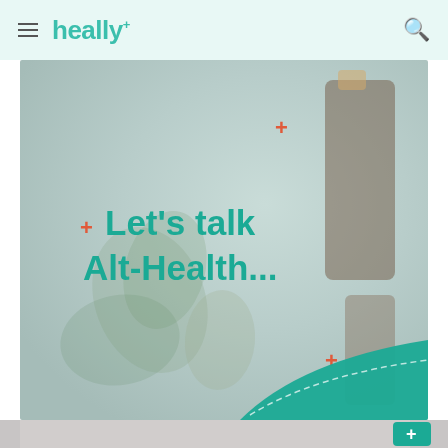heally+ (navigation header with hamburger menu and search icon)
[Figure (photo): Hero banner image for heally+ website showing alternative health products (herbs, essential oil bottles) with teal decorative wave at bottom and red plus sign decorations. Text overlay reads 'Let's talk Alt-Health...' in teal bold font.]
[Figure (photo): Partial view of a second image at the bottom of the page showing a light-colored background with a teal plus icon box visible at bottom right.]